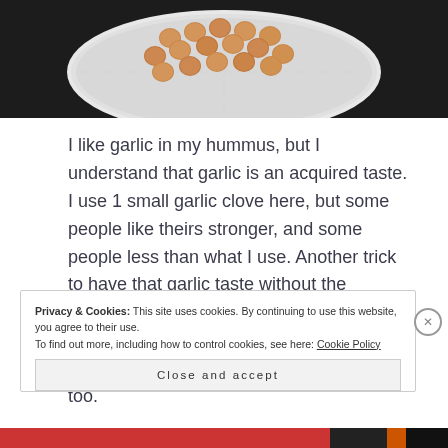[Figure (photo): Chickpeas in a colander/strainer bowl photographed from above against a dark background]
I like garlic in my hummus, but I understand that garlic is an acquired taste. I use 1 small garlic clove here, but some people like theirs stronger, and some people less than what I use. Another trick to have that garlic taste without the pungency is to blanch the garlic cloves in some hot water – maybe the last few minutes of boiling the chickpeas works too.
Privacy & Cookies: This site uses cookies. By continuing to use this website, you agree to their use.
To find out more, including how to control cookies, see here: Cookie Policy
Close and accept